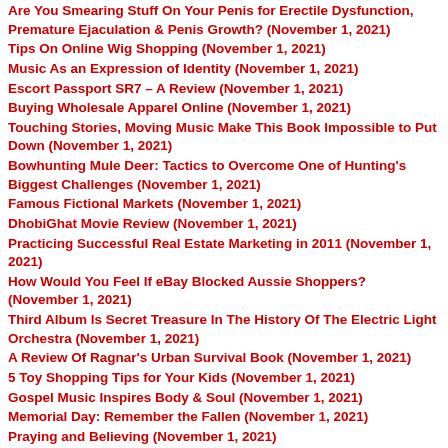Are You Smearing Stuff On Your Penis for Erectile Dysfunction, Premature Ejaculation & Penis Growth? (November 1, 2021)
Tips On Online Wig Shopping (November 1, 2021)
Music As an Expression of Identity (November 1, 2021)
Escort Passport SR7 – A Review (November 1, 2021)
Buying Wholesale Apparel Online (November 1, 2021)
Touching Stories, Moving Music Make This Book Impossible to Put Down (November 1, 2021)
Bowhunting Mule Deer: Tactics to Overcome One of Hunting's Biggest Challenges (November 1, 2021)
Famous Fictional Markets (November 1, 2021)
DhobiGhat Movie Review (November 1, 2021)
Practicing Successful Real Estate Marketing in 2011 (November 1, 2021)
How Would You Feel If eBay Blocked Aussie Shoppers? (November 1, 2021)
Third Album Is Secret Treasure In The History Of The Electric Light Orchestra (November 1, 2021)
A Review Of Ragnar's Urban Survival Book (November 1, 2021)
5 Toy Shopping Tips for Your Kids (November 1, 2021)
Gospel Music Inspires Body & Soul (November 1, 2021)
Memorial Day: Remember the Fallen (November 1, 2021)
Praying and Believing (November 1, 2021)
Diana Krall (November 1, 2021)